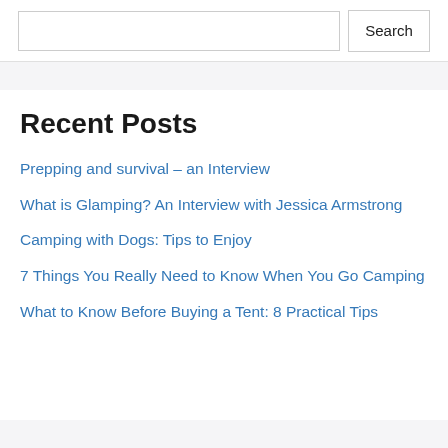Search
Recent Posts
Prepping and survival – an Interview
What is Glamping? An Interview with Jessica Armstrong
Camping with Dogs: Tips to Enjoy
7 Things You Really Need to Know When You Go Camping
What to Know Before Buying a Tent: 8 Practical Tips